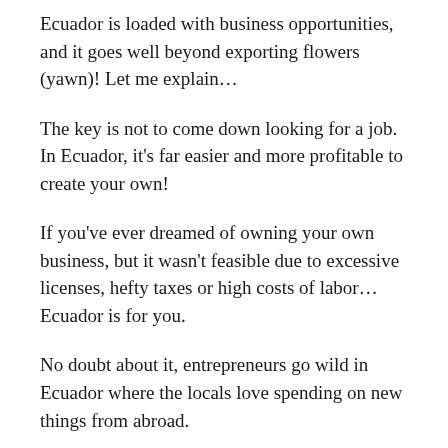Ecuador is loaded with business opportunities, and it goes well beyond exporting flowers (yawn)! Let me explain…
The key is not to come down looking for a job. In Ecuador, it's far easier and more profitable to create your own!
If you've ever dreamed of owning your own business, but it wasn't feasible due to excessive licenses, hefty taxes or high costs of labor…Ecuador is for you.
No doubt about it, entrepreneurs go wild in Ecuador where the locals love spending on new things from abroad.
Not to mention, the zoning laws aren't nearly as strict as in the US, making it fairly easy to put up